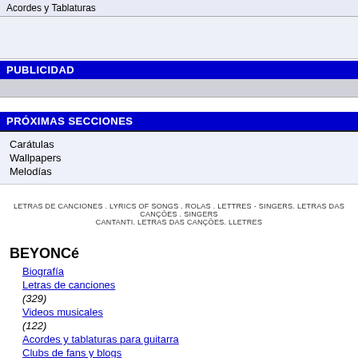Acordes y Tablaturas
PUBLICIDAD
PRÓXIMAS SECCIONES
Carátulas
Wallpapers
Melodías
LETRAS DE CANCIONES . LYRICS OF SONGS . ROLAS . LETTRES - SINGERS. LETRAS DAS CANÇÕES . SINGERS CANTANTI. LETRAS DAS CANÇÕES. LLETRES
BEYONCé
Biografía
Letras de canciones (329)
Videos musicales (122)
Acordes y tablaturas para guitarra
Clubs de fans y blogs (0)
Estás en: Inicio > Letras de canciones > Beyoncé > Beutiful liar